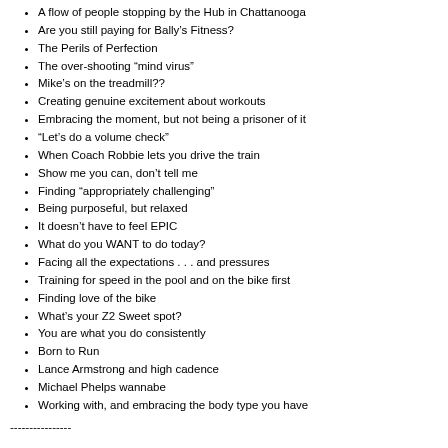A flow of people stopping by the Hub in Chattanooga
Are you still paying for Bally's Fitness?
The Perils of Perfection
The over-shooting “mind virus”
Mike’s on the treadmill??
Creating genuine excitement about workouts
Embracing the moment, but not being a prisoner of it
“Let’s do a volume check”
When Coach Robbie lets you drive the train
Show me you can, don’t tell me
Finding “appropriately challenging”
Being purposeful, but relaxed
It doesn’t have to feel EPIC
What do you WANT to do today?
Facing all the expectations . . . and pressures
Training for speed in the pool and on the bike first
Finding love of the bike
What’s your Z2 Sweet spot?
You are what you do consistently
Born to Run
Lance Armstrong and high cadence
Michael Phelps wannabe
Working with, and embracing the body type you have
----------------